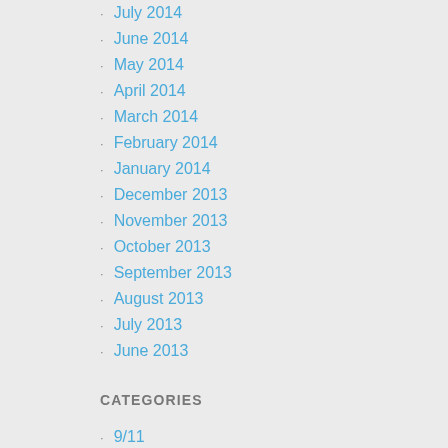July 2014
June 2014
May 2014
April 2014
March 2014
February 2014
January 2014
December 2013
November 2013
October 2013
September 2013
August 2013
July 2013
June 2013
CATEGORIES
9/11
cross training